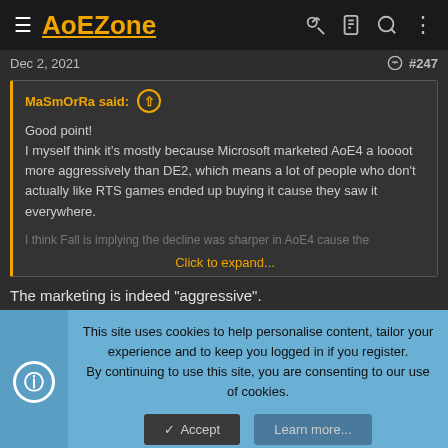AoEZone
Dec 2, 2021   #247
MaSmOrRa said:
Good point!
I myself think it's mostly because Microsoft marketed AoE4 a loooot more aggressively than DE2, which means a lot of people who don't actually like RTS games ended up buying it cause they saw it everywhere.

I think Fall is implying the decline was sharper in AoE4 cause the

Click to expand...
The marketing is indeed "aggressive".
This site uses cookies to help personalise content, tailor your experience and to keep you logged in if you register.
By continuing to use this site, you are consenting to our use of cookies.

Accept   Learn more...